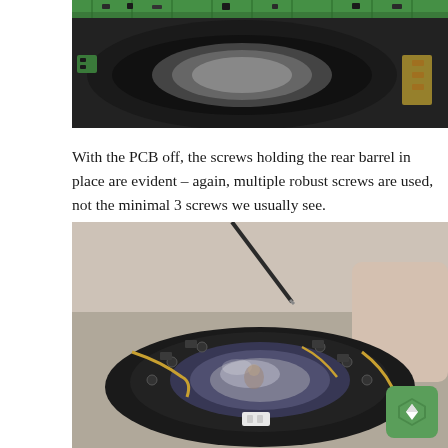[Figure (photo): Close-up photo of camera lens PCB (green circuit board) ring on black barrel, viewed from rear]
With the PCB off, the screws holding the rear barrel in place are evident – again, multiple robust screws are used, not the minimal 3 screws we usually see.
[Figure (photo): Photo of disassembled camera lens barrel showing rear lens element, flex cables, and screws being removed with screwdriver held by human hands]